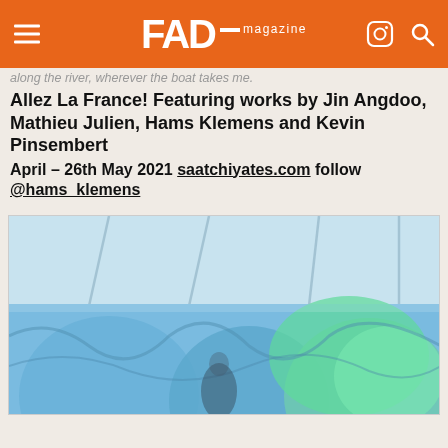FAD magazine
along the river, wherever the boat takes me.
Allez La France! Featuring works by Jin Angdoo, Mathieu Julien, Hams Klemens and Kevin Pinsembert
April – 26th May 2021 saatchiyates.com follow @hams_klemens
[Figure (photo): Abstract painting installation with blue, teal and green swirling paint strokes on walls/floor, with a blurred figure in the center, and a white paneled ceiling above]